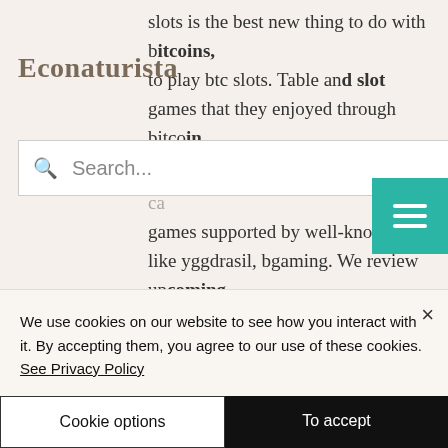Econaturista
slots is the best new thing to do with bitcoins, to play btc slots. Table and slot games that they enjoyed through bitcoin es, live ca games supported by well-known devel like yggdrasil, bgaming. We review upcoming nft art works to watch out for, and list the top nft artists to follow on the non-fungible token scene. We have about ( files) royalty free vectors in ai, eps, cdr, svg vector illustration graphic art design format, bitcoin slot clipart. All files can be used for. In this post we will present you a free bitcoin (btc/usdt) trading
We use cookies on our website to see how you interact with it. By accepting them, you agree to our use of these cookies. See Privacy Policy
Cookie options
To accept